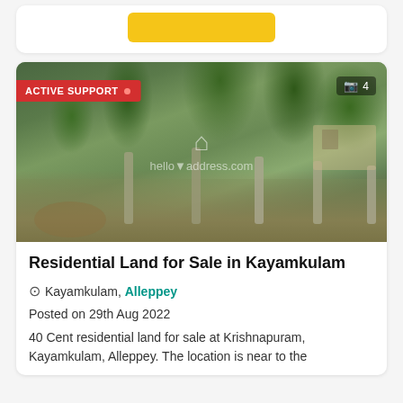[Figure (photo): Partial top card with yellow button visible at top of page]
[Figure (photo): Outdoor photo of residential land with palm trees, banana plants, stone pillars, grassy ground. Watermark 'helloaddress.com' visible. Red 'ACTIVE SUPPORT' badge on top left. Camera icon with '4' on top right.]
Residential Land for Sale in Kayamkulam
Kayamkulam, Alleppey
Posted on 29th Aug 2022
40 Cent residential land for sale at Krishnapuram, Kayamkulam, Alleppey. The location is near to the